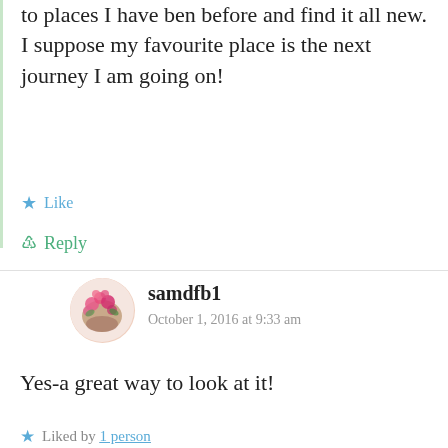to places I have ben before and find it all new. I suppose my favourite place is the next journey I am going on!
Like
Reply
samdfb1
October 1, 2016 at 9:33 am
Yes-a great way to look at it!
Liked by 1 person